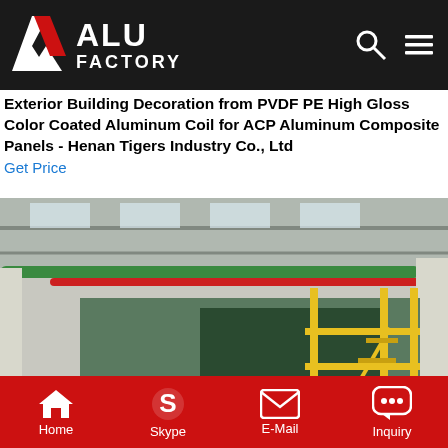ALU FACTORY
Exterior Building Decoration from PVDF PE High Gloss Color Coated Aluminum Coil for ACP Aluminum Composite Panels - Henan Tigers Industry Co., Ltd
Get Price
[Figure (photo): Industrial factory floor showing aluminum coil processing equipment with yellow scaffolding stairs, green and red overhead pipes, safety signs in Chinese, and large machinery in the background.]
Home  Skype  E-Mail  Inquiry